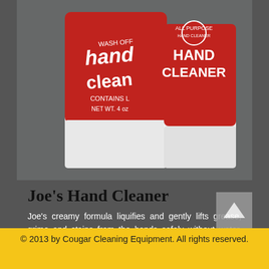[Figure (photo): Two Joe's Hand Cleaner product containers (tubes/cans) with red and white labeling showing 'hand cleaner' text, placed on a gray background]
Joe's Hand Cleaner
Joe's creamy formula liquifies and gently lifts grease, grime and stains from the hands safely without water. Joe's leaves the hands cleaned, conditioned and without the greasy feeling and strong odors of competive brands. The lanolin and skin care emollients help heal rough, dry and overused hands. Joe's is your hands best friend.
55gal Drum $625
© 2013 by Cougar Cleaning Equipment. All rights reserved.